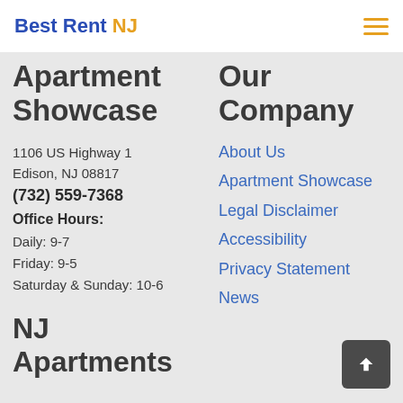Best Rent NJ
Apartment Showcase
1106 US Highway 1
Edison, NJ 08817
(732) 559-7368
Office Hours:
Daily: 9-7
Friday: 9-5
Saturday & Sunday: 10-6
Our Company
About Us
Apartment Showcase
Legal Disclaimer
Accessibility
Privacy Statement
News
NJ Apartments